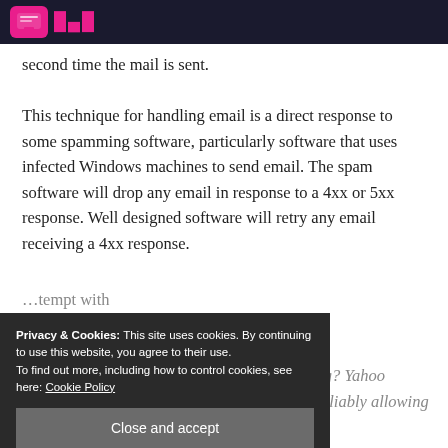second time the mail is sent. This technique for handling email is a direct response to some spamming software, particularly software that uses infected Windows machines to send email. The spam software will drop any email in response to a 4xx or 5xx response. Well designed software will retry any email receiving a 4xx response.
Privacy & Cookies: This site uses cookies. By continuing to use this website, you agree to their use.
To find out more, including how to control cookies, see here: Cookie Policy
Close and accept
Where does this fit in with what Yahoo is doing? Yahoo is not keeping track of the mail it rejects and is not reliably allowing email